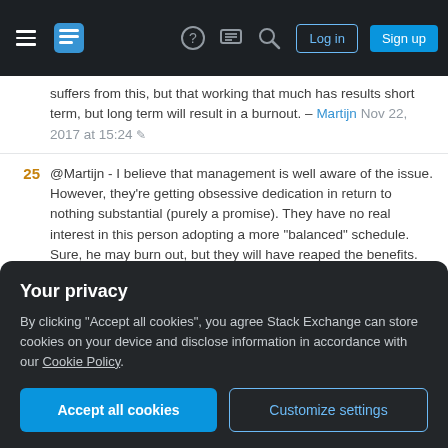Navigation bar with hamburger menu, Stack Exchange logo, help, chat, search icons, Log in and Sign up buttons
suffers from this, but that working that much has results short term, but long term will result in a burnout. – Martijn Nov 22, 2017 at 15:24
25 @Martijn - I believe that management is well aware of the issue. However, they're getting obsessive dedication in return to nothing substantial (purely a promise). They have no real interest in this person adopting a more "balanced" schedule. Sure, he may burn out, but they will have reaped the benefits. They might even inspire a second burst by actually giving him a modest raise! I don't think this is a conversation that an underling should really be having with his boss on behalf of another employee. The boss is most likely
Your privacy
By clicking "Accept all cookies", you agree Stack Exchange can store cookies on your device and disclose information in accordance with our Cookie Policy.
Accept all cookies
Customize settings
home on weekends, etc. It's easy to work significantly more than 40 hours a week and still have a healthy